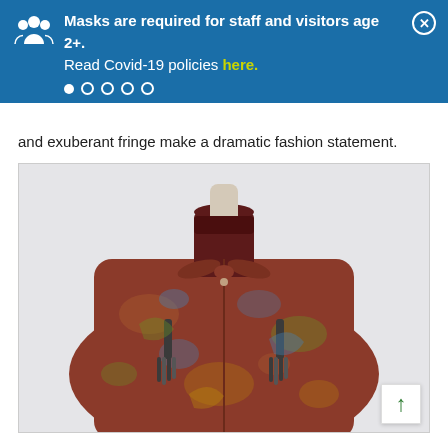Masks are required for staff and visitors age 2+. Read Covid-19 policies here.
and exuberant fringe make a dramatic fashion statement.
[Figure (photo): A paisley-patterned garment displayed on a headless mannequin. The garment features an elaborate red and multicolor paisley design with a dark burgundy velvet collar and decorative tassel fringe closures down the front center.]